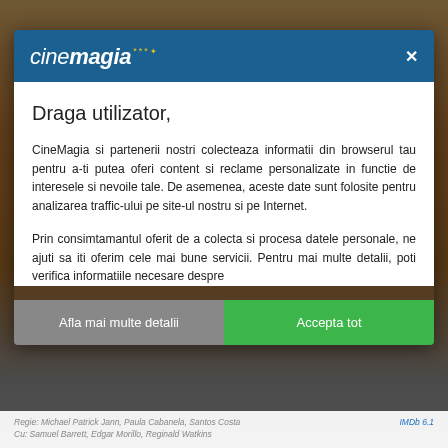[Figure (screenshot): Cinemagia website modal dialog overlay on top of a blurred colorful movie page background]
cinemagia
Draga utilizator,
CineMagia si partenerii nostri colecteaza informatii din browserul tau pentru a-ti putea oferi content si reclame personalizate in functie de interesele si nevoile tale. De asemenea, aceste date sunt folosite pentru analizarea traffic-ului pe site-ul nostru si pe Internet.
Prin consimtamantul oferit de a colecta si procesa datele personale, ne ajuti sa iti oferim cele mai bune servicii. Pentru mai multe detalii, poti verifica informatiile necesare despre
Afla mai multe detalii
Accepta tot